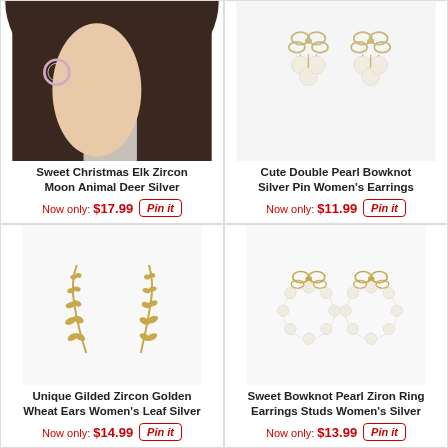[Figure (photo): Woman wearing sweet Christmas elk zircon moon animal deer silver earrings]
Sweet Christmas Elk Zircon Moon Animal Deer Silver
Now only: $17.99  Pin it
[Figure (photo): Cute double pearl bowknot silver pin women's earrings product photo]
Cute Double Pearl Bowknot Silver Pin Women's Earrings
Now only: $11.99  Pin it
[Figure (photo): Unique gilded zircon golden wheat ears women's leaf silver earrings product photo]
Unique Gilded Zircon Golden Wheat Ears Women's Leaf Silver
Now only: $14.99  Pin it
[Figure (photo): Sweet bowknot pearl ziron ring earrings studs women's silver product photo]
Sweet Bowknot Pearl Ziron Ring Earrings Studs Women's Silver
Now only: $13.99  Pin it